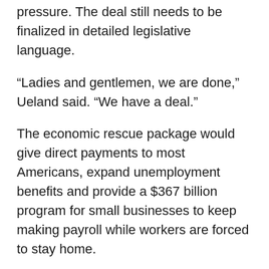pressure. The deal still needs to be finalized in detailed legislative language.
“Ladies and gentlemen, we are done,” Ueland said. “We have a deal.”
The economic rescue package would give direct payments to most Americans, expand unemployment benefits and provide a $367 billion program for small businesses to keep making payroll while workers are forced to stay home.
One of the last issues to close concerned $500 billion for guaranteed, subsidized loans to larger industries, including a fight over how generous to be with the airlines. Hospitals would get significant help as well.
“After days of intense discussions, the Senate has